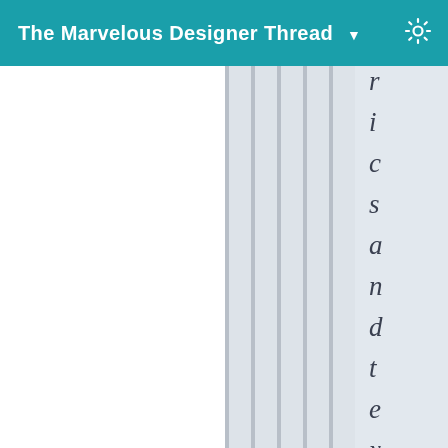The Marvelous Designer Thread ▼
[Figure (screenshot): UI panel showing vertical striped columns with italic characters spelling 'icsandtextures th' vertically on a light gray background, with a teal header bar titled 'The Marvelous Designer Thread' with a dropdown arrow and gear icon.]